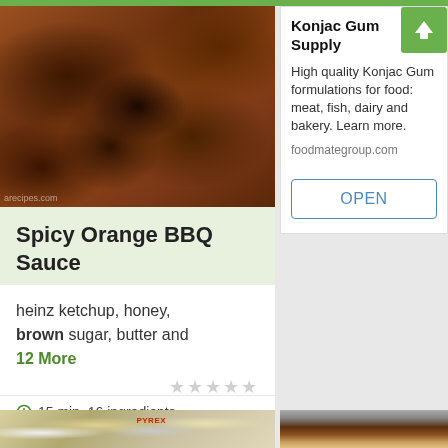[Figure (photo): Close-up photo of Spicy Orange BBQ Sauce — brown caramelized onions and sauce]
Spicy Orange BBQ Sauce
heinz ketchup, honey, brown sugar, butter and 12 More
15 min, 16 ingredients
[Figure (infographic): Advertisement: Konjac Gum Supply — High quality Konjac Gum formulations for food: meat, fish, dairy and bakery. Learn more. foodmategroup.com — OPEN button]
[Figure (photo): Bottom left: cooking ingredients photo with measuring cup (Pyrex) and garlic]
[Figure (photo): Bottom right: bottle of honey product]